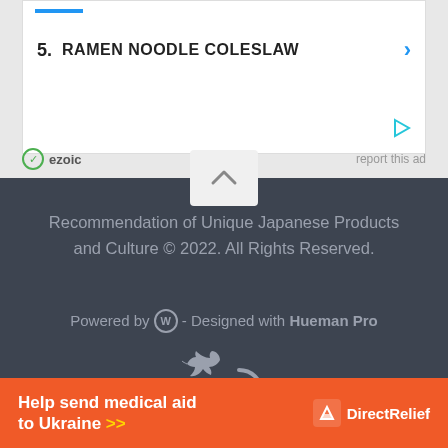[Figure (screenshot): Advertisement box showing item 5: RAMEN NOODLE COLESLAW with a blue horizontal bar at top, right arrow in blue, and a play icon in cyan. Ezoic branding and 'report this ad' text at the bottom.]
[Figure (screenshot): Scroll-up chevron button (^) on the border between the ad section and dark footer.]
Recommendation of Unique Japanese Products and Culture © 2022. All Rights Reserved.
Powered by  - Designed with Hueman Pro
[Figure (illustration): Social media icons: Twitter bird and RSS feed icon, in light grey on dark background.]
Privacy & Cookies: This site uses cookies. By continuing to use this website, you agree to their use.
To find out more, including how to control cookies, see here: Cookie Policy
[Figure (infographic): Orange banner ad: 'Help send medical aid to Ukraine >>' with Direct Relief logo on the right.]